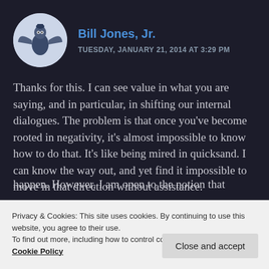[Figure (illustration): Circular avatar image of Bill Jones Jr. showing a stylized figure with outstretched wings/arms against a light background]
Bill Jones, Jr.
TUESDAY, JANUARY 21, 2014 AT 3:29 PM
Thanks for this. I can see value in what you are saying, and in particular, in shifting our internal dialogues. The problem is that once you've become rooted in negativity, it's almost impossible to know how to do that. It's like being mired in quicksand. I can know the way out, and yet find it impossible to move in that direction without assistance.
happen. However, I am open to the notion that
Privacy & Cookies: This site uses cookies. By continuing to use this website, you agree to their use.
To find out more, including how to control cookies, see here:
Cookie Policy
Close and accept